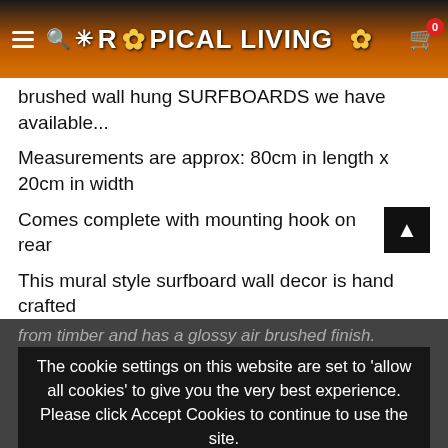Tropical Living (website header with logo, hamburger menu, search icon, cart icon with badge 0)
brushed wall hung SURFBOARDS we have available...
Measurements are approx: 80cm in length x 20cm in width
Comes complete with mounting hook on rear
This mural style surfboard wall decor is hand crafted from timber and has a glossy air brushed finish.
PLEASE NOTE: This is a hand crafted item and may have slight signs of imperfection in the paintwork.
This is not a fibreglass surfboard finish. The imperfections may be slight scratches or similar that
The cookie settings on this website are set to 'allow all cookies' to give you the very best experience. Please click Accept Cookies to continue to use the site.
PRIVACY POLICY   ACCEPT ✓